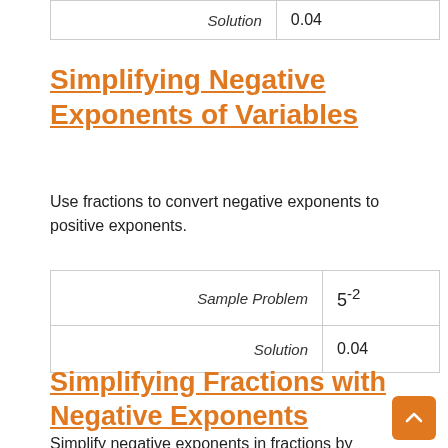| Solution | 0.04 |
Simplifying Negative Exponents of Variables
Use fractions to convert negative exponents to positive exponents.
| Sample Problem | 5-2 |
| Solution | 0.04 |
Simplifying Fractions with Negative Exponents
Simplify negative exponents in fractions by